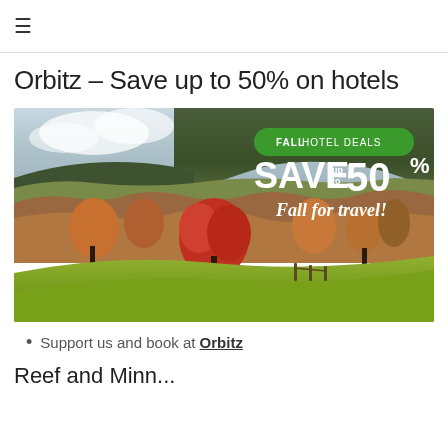≡
Orbitz – Save up to 50% on hotels
[Figure (illustration): Orbitz Fall Hotel Deals advertisement banner showing an autumn mountain landscape with colorful fall foliage. Text overlay reads: FALL HOTEL DEALS | SAVE up to 50% | Fall for travel!]
Support us and book at Orbitz
Reef and Minn...